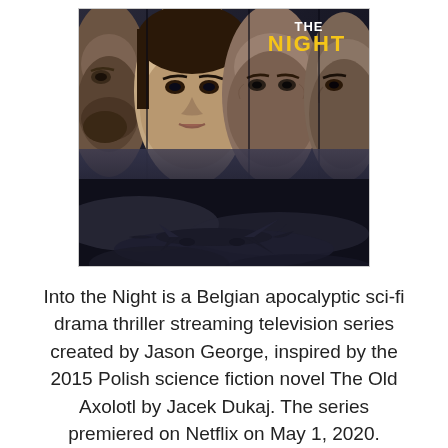[Figure (photo): Movie/TV show poster for 'Into the Night' featuring the faces of four actors arranged side by side against a dark dramatic background with a plane flying through stormy clouds. Text reads 'THE NIGHT' in yellow and white, '1 MAY' and 'NETFLIX' at the bottom.]
Into the Night is a Belgian apocalyptic sci-fi drama thriller streaming television series created by Jason George, inspired by the 2015 Polish science fiction novel The Old Axolotl by Jacek Dukaj. The series premiered on Netflix on May 1, 2020.